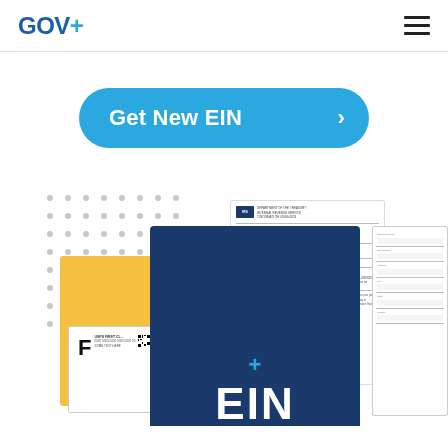GOV+
Get New EIN
[Figure (infographic): Collection of government documents including a yellow envelope, USPS first class mail label, a dark navy EIN document with GOV+ branding, an IRS letter, and a government form, with a dot grid pattern in the background.]